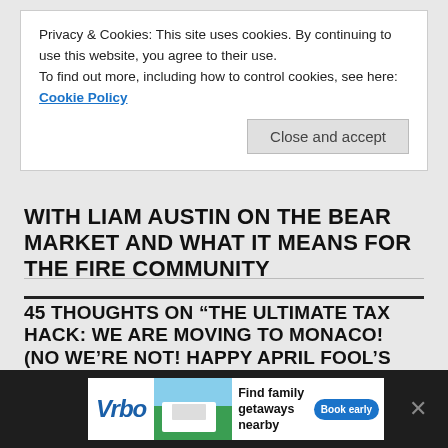Privacy & Cookies: This site uses cookies. By continuing to use this website, you agree to their use. To find out more, including how to control cookies, see here: Cookie Policy
Close and accept
WITH LIAM AUSTIN ON THE BEAR MARKET AND WHAT IT MEANS FOR THE FIRE COMMUNITY
45 THOUGHTS ON “THE ULTIMATE TAX HACK: WE ARE MOVING TO MONACO! (NO WE’RE NOT! HAPPY APRIL FOOL’S DAY!)”
RONNIE
April 1, 2020 at 12:15 am
[Figure (other): Teal/green pixel avatar icon for commenter Ronnie]
[Figure (other): Vrbo advertisement banner at bottom of page showing vacation rental with beach scene]